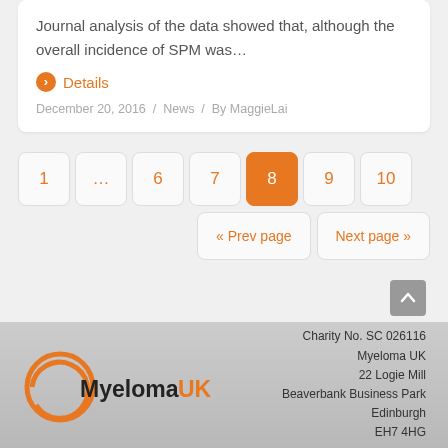Journal analysis of the data showed that, although the overall incidence of SPM was…
Details
December 20, 2016 / News / By MaggieLai
1 … 6 7 8 9 10
« Prev page   Next page »
[Figure (logo): Myeloma UK logo with orange circular arc and bold text]
Charity No. SC 026116
Myeloma UK
22 Logie Mill
Beaverbank Business Park
Edinburgh
EH7 4HG